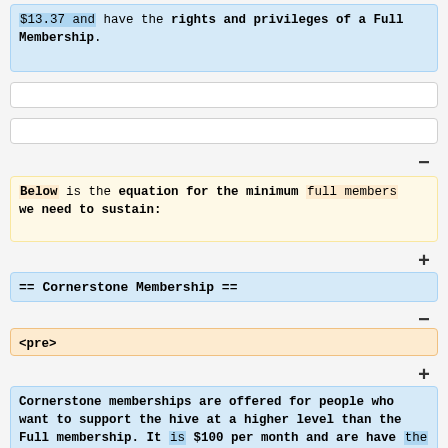$13.37 and have the rights and privileges of a Full Membership.
Below is the equation for the minimum full members we need to sustain:
== Cornerstone Membership ==
<pre>
Cornerstone memberships are offered for people who want to support the hive at a higher level than the Full membership. It is $100 per month and are have the same rights and privileges of a full member.